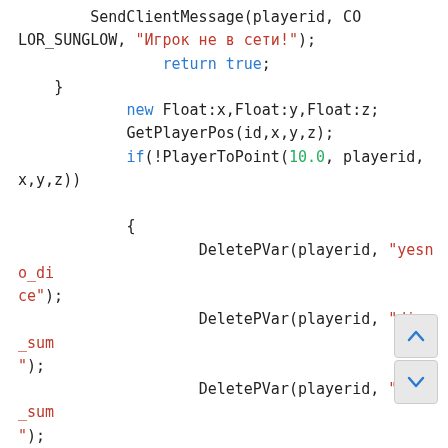Code snippet showing SendClientMessage, return true, new Float:x,Float:y,Float:z, GetPlayerPos, if(!PlayerToPoint(10.0, playerid, x,y,z)) and multiple DeletePVar calls with string parameters yesno_dice, dice_sum, duel_sum, yesno_duel, yesno_sex, yesno_showlic, yesno_in